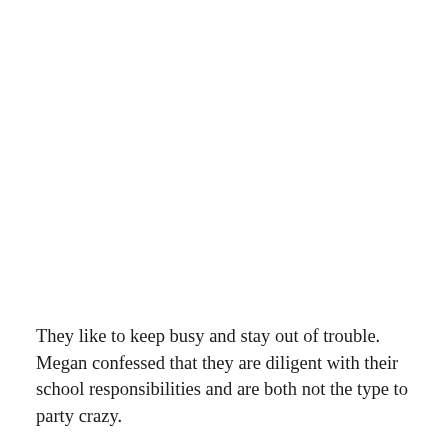They like to keep busy and stay out of trouble. Megan confessed that they are diligent with their school responsibilities and are both not the type to party crazy.